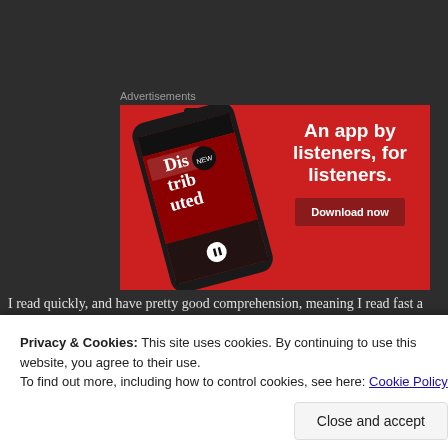Advertisements
[Figure (screenshot): Advertisement banner with red background showing a smartphone displaying a podcast app with 'Dis-trib-uted' text, alongside headline 'An app by listeners, for listeners.' and a 'Download now' button]
I read quickly, and have pretty good comprehension, meaning I read fast a...
Privacy & Cookies: This site uses cookies. By continuing to use this website, you agree to their use.
To find out more, including how to control cookies, see here: Cookie Policy
Close and accept